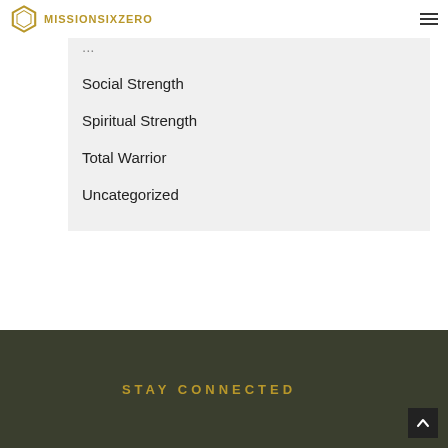MISSIONSIXZERO
Social Strength
Spiritual Strength
Total Warrior
Uncategorized
STAY CONNECTED